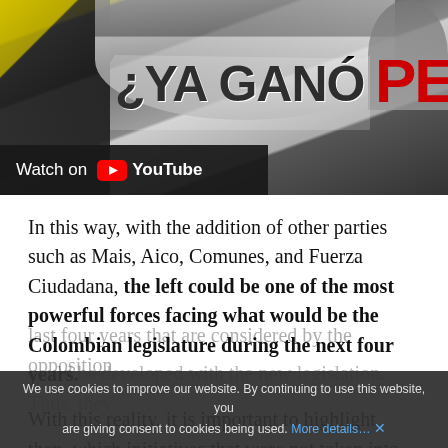[Figure (screenshot): YouTube thumbnail showing people and text '¿YA GANÓ PETRO' with a Watch on YouTube overlay bar]
In this way, with the addition of other parties such as Mais, Aico, Comunes, and Fuerza Ciudadana, the left could be one of the most powerful forces facing what would be the Colombian legislature during the next four years.
With this reality, it is important to highlight, then, which initiatives that were not taken into account in the last four years that are considered by the opposition could be developed with the new legislation. Thus, they
We use cookies to improve our website. By continuing to use this website, you are giving consent to cookies being used. More details… ✕